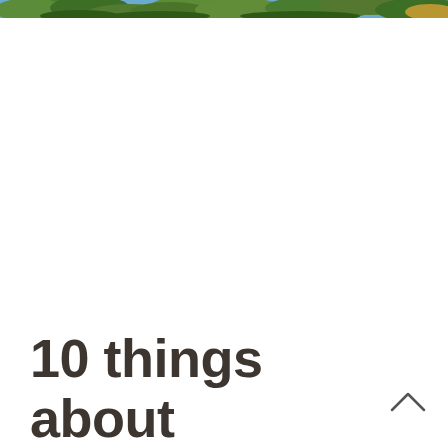[Figure (photo): Partial outdoor photo strip at the top of the page showing trees with green foliage and blue sky, cropped to a thin horizontal band.]
10 things about